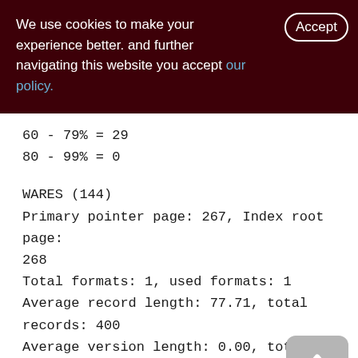We use cookies to make your experience better. By accepting and further navigating this website you accept our policy.
60 - 79% = 29
80 - 99% = 0
WARES (144)
Primary pointer page: 267, Index root page: 268
Total formats: 1, used formats: 1
Average record length: 77.71, total records: 400
Average version length: 0.00, total versions: 0, max versions: 0
Average fragment length: 0.00, total